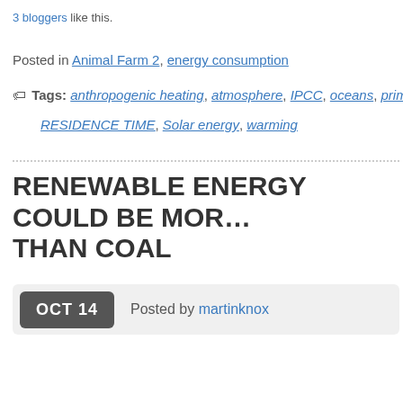3 bloggers like this.
Posted in Animal Farm 2, energy consumption
Tags: anthropogenic heating, atmosphere, IPCC, oceans, primary ene… RESIDENCE TIME, Solar energy, warming
RENEWABLE ENERGY COULD BE MOR… THAN COAL
OCT 14  Posted by martinknox